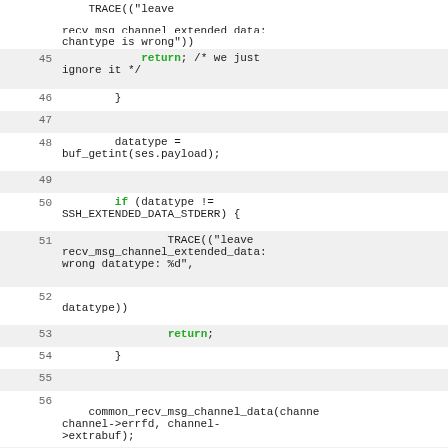Code listing lines 45-59, C source code for recv_msg_channel_extended_data function
45: return; /* we just ignore it */
46:             }
47: (empty)
48:         datatype = buf_getint(ses.payload);
49: (empty)
50:         if (datatype != SSH_EXTENDED_DATA_STDERR) {
51:                 TRACE(("leave recv_msg_channel_extended_data: wrong datatype: %d",
52:         datatype))
53:                 return;
54:             }
55: (empty)
56:     common_recv_msg_channel_data(channel, channel->errfd, channel->extrabuf);
57: (empty)
58:         TRACE(("leave recv_msg_channel_extended_data"))
59: }